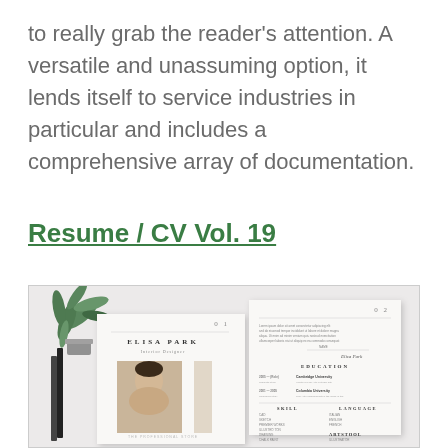to really grab the reader's attention. A versatile and unassuming option, it lends itself to service industries in particular and includes a comprehensive array of documentation.
Resume / CV Vol. 19
[Figure (photo): Preview mockup of a resume template titled 'Elisa Park - Interior Designer' showing two pages of the CV, page 01 with a photo and page 02 with education, skill and language sections. A plant and two pencils are visible in the background.]